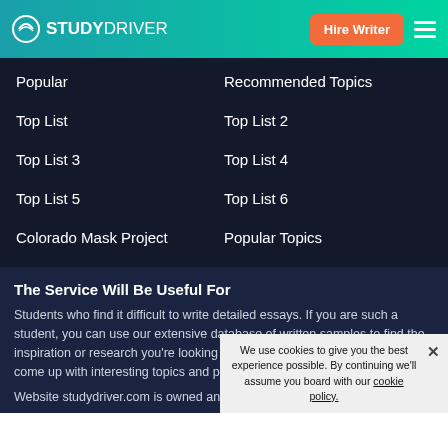STUDYDRIVER — Hire Writer
Popular
Recommended Topics
Top List
Top List 2
Top List 3
Top List 4
Top List 5
Top List 6
Colorado Mask Project
Popular Topics
The Service Will Be Useful For
Students who find it difficult to write detailed essays. If you are such a student, you can use our extensive database of written samples to find the inspiration or research you're looking for. You can also use our tools to come up with interesting topics and points to argue in your paper.
Website studydriver.com is owned and operated by ATATATAY LTD
We use cookies to give you the best experience possible. By continuing we'll assume you board with our cookie policy.